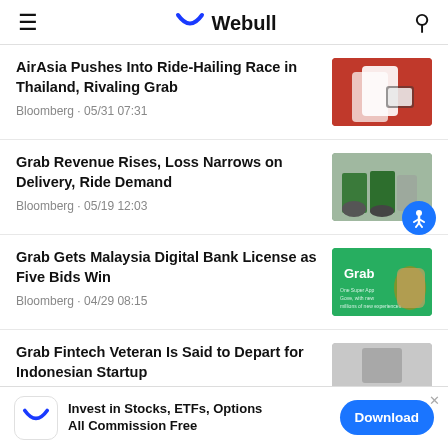Webull
AirAsia Pushes Into Ride-Hailing Race in Thailand, Rivaling Grab
Bloomberg · 05/31 07:31
[Figure (photo): AirAsia app promotional image on red background with QR code]
Grab Revenue Rises, Loss Narrows on Delivery, Ride Demand
Bloomberg · 05/19 12:03
[Figure (photo): Grab delivery riders in green jackets with bicycles]
Grab Gets Malaysia Digital Bank License as Five Bids Win
Bloomberg · 04/29 08:15
[Figure (photo): Person wearing mask in front of Grab green banner]
Grab Fintech Veteran Is Said to Depart for Indonesian Startup
[Figure (photo): Partially visible Grab-related image]
Invest in Stocks, ETFs, Options All Commission Free